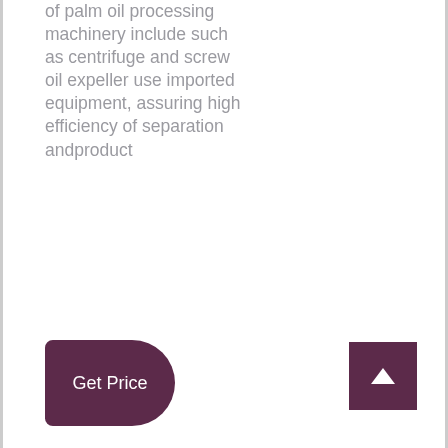of palm oil processing machinery include such as centrifuge and screw oil expeller use imported equipment, assuring high efficiency of separation andproduct
Get Price